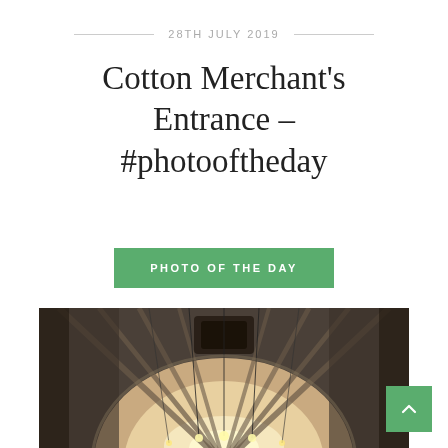28TH JULY 2019
Cotton Merchant's Entrance – #photooftheday
PHOTO OF THE DAY
[Figure (photo): Looking up through a stone vaulted arch entrance with radiating ribs, brick walls, and pendant light bulbs hanging from cables, warmly lit from below.]